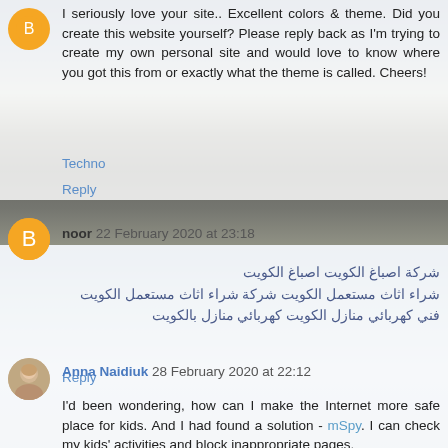I seriously love your site.. Excellent colors & theme. Did you create this website yourself? Please reply back as I'm trying to create my own personal site and would love to know where you got this from or exactly what the theme is called. Cheers!
Techno
Reply
noor 22 February 2020 at 23:18
شركة اصباغ الكويت اصباغ الكويت شراء اثاث مستعمل الكويت شركة شراء اثاث مستعمل الكويت فني كهربائي منازل الكويت كهربائي منازل بالكويت
Reply
Anna Naidiuk 28 February 2020 at 22:12
I'd been wondering, how can I make the Internet more safe place for kids. And I had found a solution - mSpy. I can check my kids' activities and block inappropriate pages.